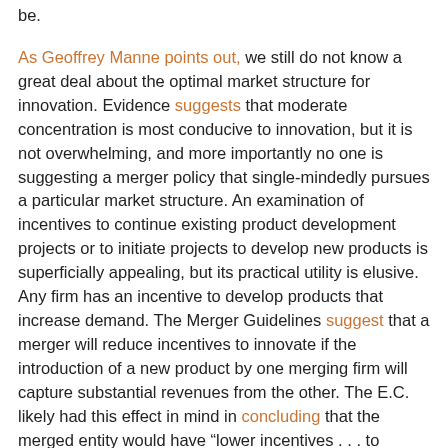be.
As Geoffrey Manne points out, we still do not know a great deal about the optimal market structure for innovation. Evidence suggests that moderate concentration is most conducive to innovation, but it is not overwhelming, and more importantly no one is suggesting a merger policy that single-mindedly pursues a particular market structure. An examination of incentives to continue existing product development projects or to initiate projects to develop new products is superficially appealing, but its practical utility is elusive. Any firm has an incentive to develop products that increase demand. The Merger Guidelines suggest that a merger will reduce incentives to innovate if the introduction of a new product by one merging firm will capture substantial revenues from the other. The E.C. likely had this effect in mind in concluding that the merged entity would have “lower incentives . . . to innovate than Dow and DuPont separately.”  The Commission also observed that the merged firm would have “a lower ability to innovate” than the two firms separately, but just how a combination of research assets could reduce capability is utterly obscure.
In any event, whether a merger reduces incentives depends not only on the welfare of the merging parties but also on the development activities of actual and would-be competitors. A